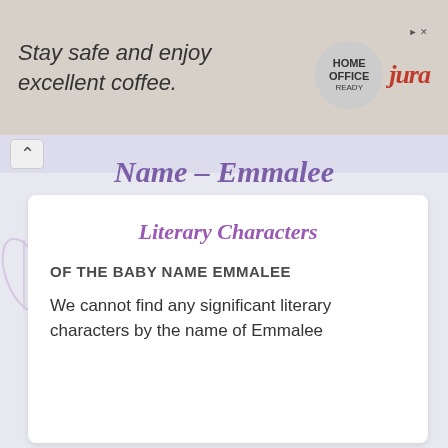[Figure (other): Advertisement banner: 'Stay safe and enjoy excellent coffee.' with HOME OFFICE READY badge and Jura logo]
Name – Emmalee
Literary Characters
OF THE BABY NAME EMMALEE
We cannot find any significant literary characters by the name of Emmalee